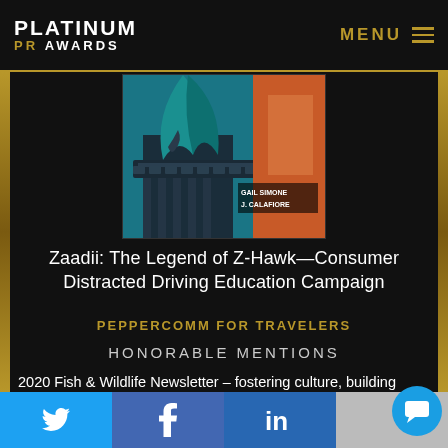PLATINUM PR AWARDS   MENU
[Figure (illustration): Comic book cover art showing a superhero figure on a building ledge with teal/orange color scheme, credited to GAIL SIMONE and J. CALAFIORE]
Zaadii: The Legend of Z-Hawk—Consumer Distracted Driving Education Campaign
PEPPERCOMM FOR TRAVELERS
HONORABLE MENTIONS
2020 Fish & Wildlife Newsletter – fostering culture, building knowledge and protecting resources
TAHITAN CENTRAL GOVERNMENT
Twitter  Facebook  LinkedIn  Chat